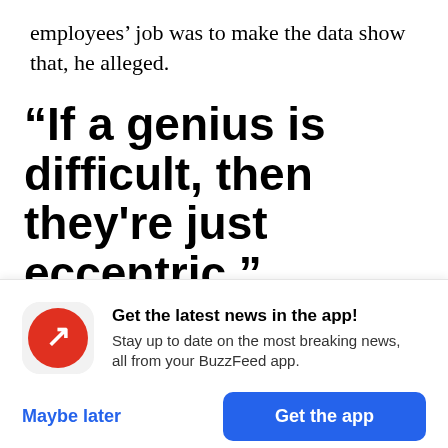employees’ job was to make the data show that, he alleged.
“If a genius is difficult, then they’re just eccentric.”
The Max Planck Society denied this. Its statement to BuzzFeed News said, “There were no formal
[Figure (screenshot): BuzzFeed News app promo banner with red BuzzFeed logo icon, headline 'Get the latest news in the app!', subtext 'Stay up to date on the most breaking news, all from your BuzzFeed app.', 'Maybe later' link and blue 'Get the app' button.]